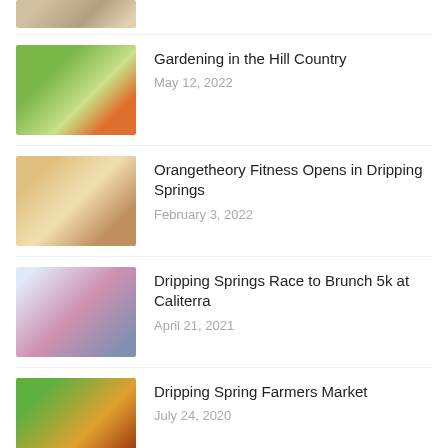[Figure (photo): Partial view of a top article thumbnail image (cropped at top)]
[Figure (photo): Tomatoes growing on a vine in a garden setting]
Gardening in the Hill Country
May 12, 2022
[Figure (photo): People running on treadmills in a fitness gym with sunlight]
Orangetheory Fitness Opens in Dripping Springs
February 3, 2022
[Figure (photo): People posing at the Caliterra Race to Brunch 5k event with race bibs]
Dripping Springs Race to Brunch 5k at Caliterra
April 21, 2021
[Figure (photo): Colorful vegetables including carrots at a farmers market]
Dripping Spring Farmers Market
July 24, 2020